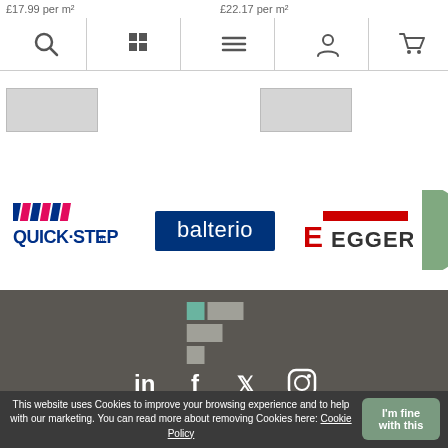£17.99 per m²  £22.17 per m²
[Figure (screenshot): Navigation bar with search, grid, menu, user, and cart icons]
[Figure (screenshot): Product thumbnail image placeholders]
[Figure (logo): Quick-Step brand logo]
[Figure (logo): Balterio brand logo - blue background with white text]
[Figure (logo): Egger brand logo - E with red bar and EGGER text]
[Figure (logo): Partial green circle logo on right edge]
[Figure (logo): Footer geometric logo mark in teal and grey squares]
[Figure (infographic): Social media icons: LinkedIn, Facebook, Twitter, Instagram]
Tel: 01928 263265
This website uses Cookies to improve your browsing experience and to help with our marketing. You can read more about removing Cookies here: Cookie Policy